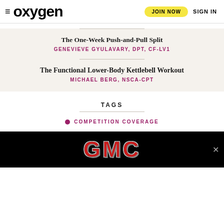oxygen | JOIN NOW | SIGN IN
The One-Week Push-and-Pull Split
GENEVIEVE GYULAVARY, DPT, CF-LV1
The Functional Lower-Body Kettlebell Workout
MICHAEL BERG, NSCA-CPT
TAGS
COMPETITION COVERAGE
[Figure (logo): GMC advertisement banner with red GMC logo on black background with close button]